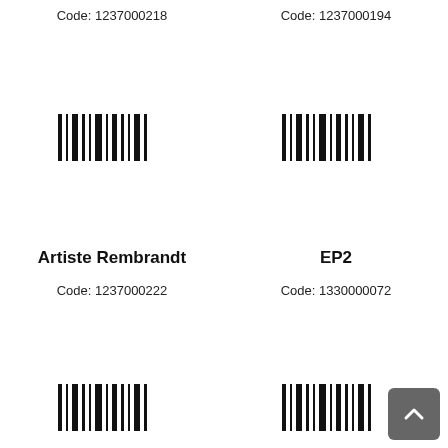Code: 1237000218
Code: 1237000194
[Figure (other): Barcode graphic left column row 1]
[Figure (other): Barcode graphic right column row 1]
Artiste Rembrandt
EP2
Code: 1237000222
Code: 1330000072
[Figure (other): Barcode graphic left column row 3]
[Figure (other): Barcode graphic right column row 3]